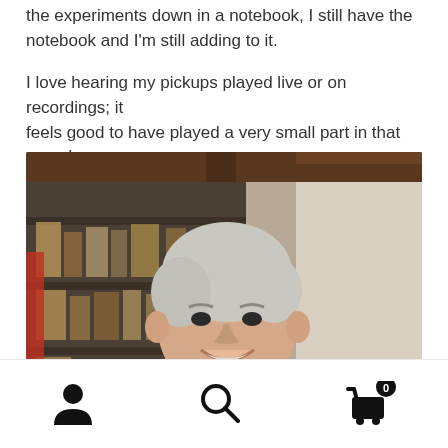the experiments down in a notebook, I still have the notebook and I'm still adding to it.
I love hearing my pickups played live or on recordings; it feels good to have played a very small part in that sound.
[Figure (photo): A middle-aged man with grey hair smiling, wearing a light blue t-shirt, seated in what appears to be a workshop or storage room with shelves of various items in the background.]
Navigation bar with user account icon, search icon, and shopping cart icon with badge showing 0